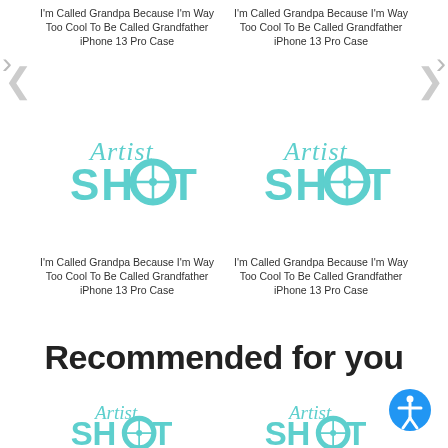I'm Called Grandpa Because I'm Way Too Cool To Be Called Grandfather iPhone 13 Pro Case
I'm Called Grandpa Because I'm Way Too Cool To Be Called Grandfather iPhone 13 Pro Case
[Figure (logo): ArtistShot logo in teal/cyan color with cursive 'Artist' text above bold 'SHOT' text with crosshair O]
[Figure (logo): ArtistShot logo in teal/cyan color with cursive 'Artist' text above bold 'SHOT' text with crosshair O]
I'm Called Grandpa Because I'm Way Too Cool To Be Called Grandfather iPhone 13 Pro Case
I'm Called Grandpa Because I'm Way Too Cool To Be Called Grandfather iPhone 13 Pro Case
Recommended for you
[Figure (logo): ArtistShot logo partially visible at bottom of page]
[Figure (logo): ArtistShot logo partially visible at bottom of page]